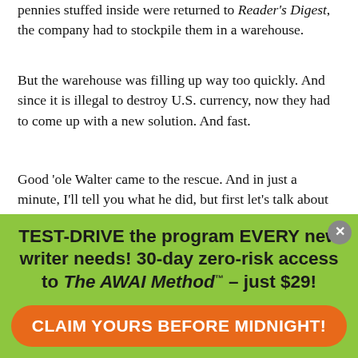pennies stuffed inside were returned to Reader's Digest, the company had to stockpile them in a warehouse.
But the warehouse was filling up way too quickly. And since it is illegal to destroy U.S. currency, now they had to come up with a new solution. And fast.
Good ‘ole Walter came to the rescue. And in just a minute, I’ll tell you what he did, but first let’s talk about ways you can catapult your copywriting career.
Best Way #1: Read everything. There’s a lot you can
[Figure (infographic): Green banner overlay advertisement: 'TEST-DRIVE the program EVERY new writer needs! 30-day zero-risk access to The AWAI Method™ – just $29!' with an orange rounded-rectangle button reading 'CLAIM YOURS BEFORE MIDNIGHT!' and a grey close button (X) in the top-right corner.]